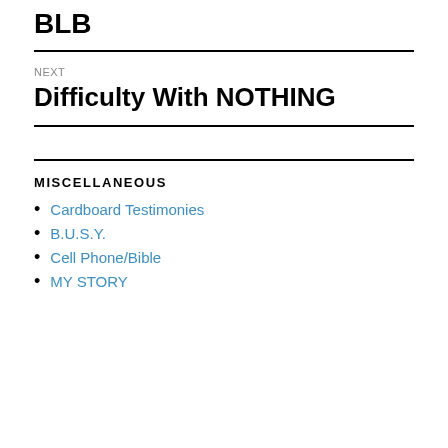BLB
NEXT
Difficulty With NOTHING
MISCELLANEOUS
Cardboard Testimonies
B.U.S.Y.
Cell Phone/Bible
MY STORY